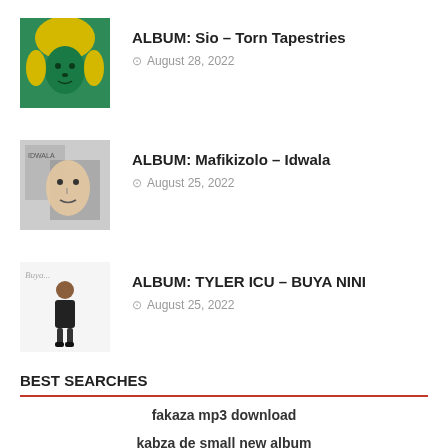ALBUM: Sio – Torn Tapestries
August 28, 2022
ALBUM: Mafikizolo – Idwala
August 25, 2022
ALBUM: TYLER ICU – BUYA NINI
August 25, 2022
BEST SEARCHES
fakaza mp3 download
kabza de small new album